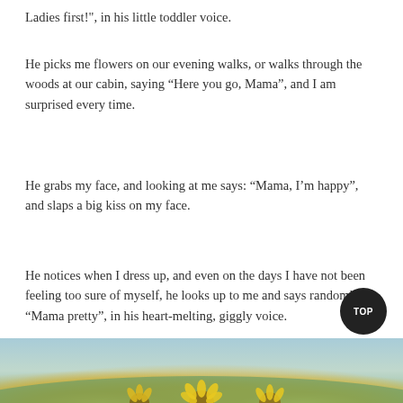Ladies first!", in his little toddler voice.
He picks me flowers on our evening walks, or walks through the woods at our cabin, saying “Here you go, Mama”, and I am surprised every time.
He grabs my face, and looking at me says: “Mama, I’m happy”, and slaps a big kiss on my face.
He notices when I dress up, and even on the days I have not been feeling too sure of myself, he looks up to me and says randomly, “Mama pretty”, in his heart-melting, giggly voice.
He knows the exact moment I need a little hug, he starts to sing together: “I love you, you love me…”, and I join in.
[Figure (photo): Bottom strip showing sunflowers and sky — a partial photograph of sunflowers in a field.]